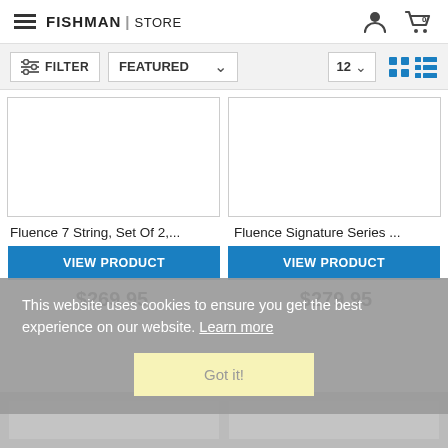FISHMAN | STORE
FILTER   FEATURED   12
[Figure (screenshot): Product listing grid showing two product cards with white image placeholders]
Fluence 7 String, Set Of 2,...
Fluence Signature Series ...
VIEW PRODUCT
VIEW PRODUCT
$269.95
$279.95
This website uses cookies to ensure you get the best experience on our website. Learn more
Got it!